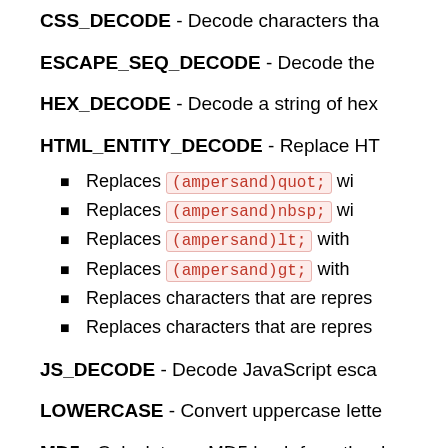CSS_DECODE - Decode characters tha
ESCAPE_SEQ_DECODE - Decode the
HEX_DECODE - Decode a string of hex
HTML_ENTITY_DECODE - Replace HT
Replaces (ampersand)quot; wi
Replaces (ampersand)nbsp; wi
Replaces (ampersand)lt; with
Replaces (ampersand)gt; with
Replaces characters that are repres
Replaces characters that are repres
JS_DECODE - Decode JavaScript esca
LOWERCASE - Convert uppercase lette
MD5 - Calculate an MD5 hash from the d